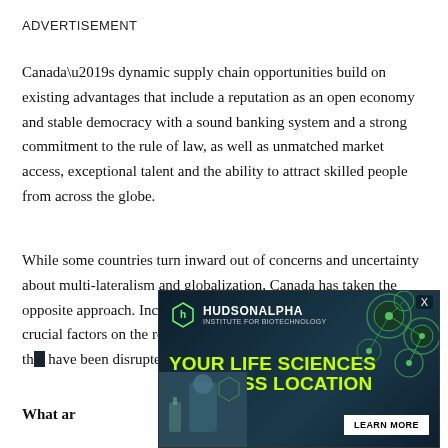ADVERTISEMENT
Canada’s dynamic supply chain opportunities build on existing advantages that include a reputation as an open economy and stable democracy with a sound banking system and a strong commitment to the rule of law, as well as unmatched market access, exceptional talent and the ability to attract skilled people from across the globe.
While some countries turn inward out of concerns and uncertainty about multi-lateralism and globalization, Canada has taken the opposite approach. Increased trade flows and investment are crucial factors on the road to recovery, especially in key sectors that have been disrupted…
What ar…
[Figure (infographic): HudsonAlpha Institute for Biotechnology advertisement overlay with green hexagonal network graphics, scientist photo, yellow-green headline text reading YOUR LIFE SCIENCES BUSINESS LOCATION, and a white LEARN MORE button. Close button X visible top right.]